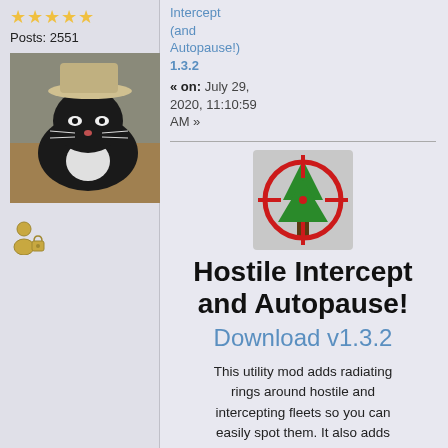★★★★★
Posts: 2551
[Figure (photo): User avatar photo showing a cat wearing a hat]
[Figure (illustration): User profile icon with lock/admin symbol]
Hostile Intercept (and Autopause!) 1.3.2
« on: July 29, 2020, 11:10:59 AM »
[Figure (logo): Game mod icon: crosshair/target over green tree shapes on a grey background]
Hostile Intercept and Autopause!
Download v1.3.2
This utility mod adds radiating rings around hostile and intercepting fleets so you can easily spot them. It also adds autopause!
Features:
- Hostile fleets/stations radiate red rings